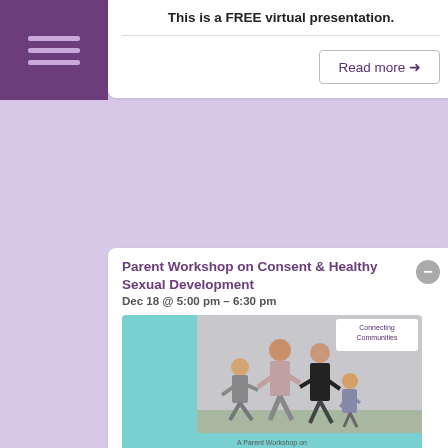[Figure (other): Purple hamburger menu icon on dark purple background in top-left sidebar]
This is a FREE virtual presentation.
Read more →
DEC
18
Fri
Parent Workshop on Consent & Healthy Sexual Development
Dec 18 @ 5:00 pm – 6:30 pm
[Figure (photo): Family with two children walking outdoors; banner reads 'A Parent Workshop on Consent & Healthy Sexual Development' with 'Connecting Communities' label in top right corner]
Parenting is difficult, especially when it comes to